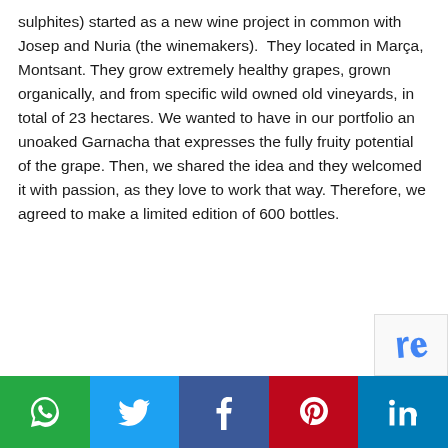sulphites) started as a new wine project in common with Josep and Nuria (the winemakers). They located in Marça, Montsant. They grow extremely healthy grapes, grown organically, and from specific wild owned old vineyards, in total of 23 hectares. We wanted to have in our portfolio an unoaked Garnacha that expresses the fully fruity potential of the grape. Then, we shared the idea and they welcomed it with passion, as they love to work that way. Therefore, we agreed to make a limited edition of 600 bottles.
[Figure (other): Social sharing bar with icons for WhatsApp, Twitter, Facebook, Pinterest, and LinkedIn]